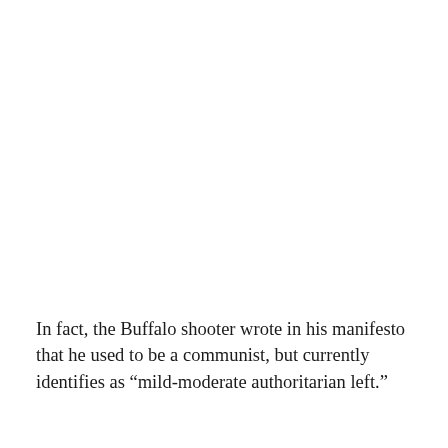In fact, the Buffalo shooter wrote in his manifesto that he used to be a communist, but currently identifies as “mild-moderate authoritarian left.”